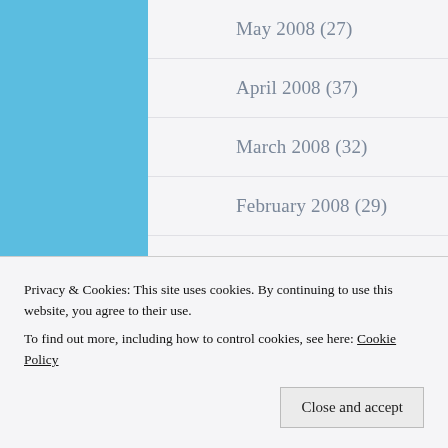May 2008 (27)
April 2008 (37)
March 2008 (32)
February 2008 (29)
January 2008 (27)
December 2007 (49)
November 2007 (25)
October 2007 (22)
Privacy & Cookies: This site uses cookies. By continuing to use this website, you agree to their use.
To find out more, including how to control cookies, see here: Cookie Policy
Close and accept